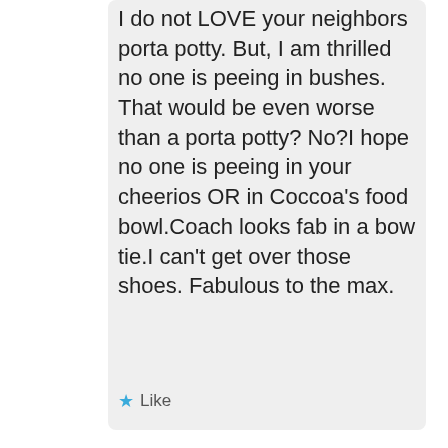I do not LOVE your neighbors porta potty. But, I am thrilled no one is peeing in bushes. That would be even worse than a porta potty? No?I hope no one is peeing in your cheerios OR in Coccoa's food bowl.Coach looks fab in a bow tie.I can't get over those shoes. Fabulous to the max.
Like